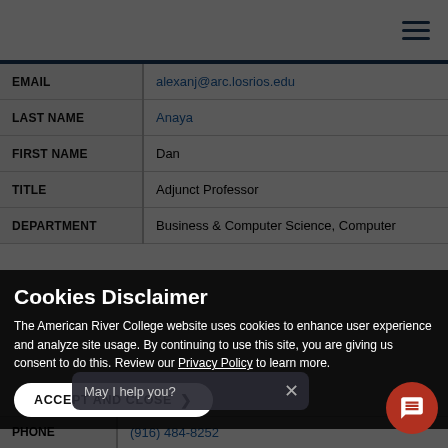American River College navigation header with hamburger menu
| Field | Value |
| --- | --- |
| EMAIL | alexanj@arc.losrios.edu |
| LAST NAME | Anaya |
| FIRST NAME | Dan |
| TITLE | Adjunct Professor |
| DEPARTMENT | Business & Computer Science, Computer |
Cookies Disclaimer
The American River College website uses cookies to enhance user experience and analyze site usage. By continuing to use this site, you are giving us consent to do this. Review our Privacy Policy to learn more.
ACCEPT AND CLOSE
| Field | Value |
| --- | --- |
| PHONE | (916) 484-8252 |